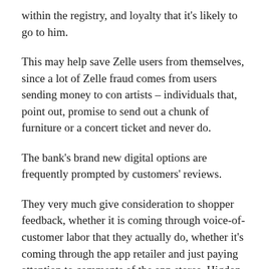within the registry, and loyalty that it's likely to go to him.
This may help save Zelle users from themselves, since a lot of Zelle fraud comes from users sending money to con artists – individuals that, point out, promise to send out a chunk of furniture or a concert ticket and never do.
The bank's brand new digital options are frequently prompted by customers' reviews.
They very much give consideration to shopper feedback, whether it is coming through voice-of-customer labor that they actually do, whether it's coming through the app retailer and just paying attention to comments of the app stores, Higdon said.